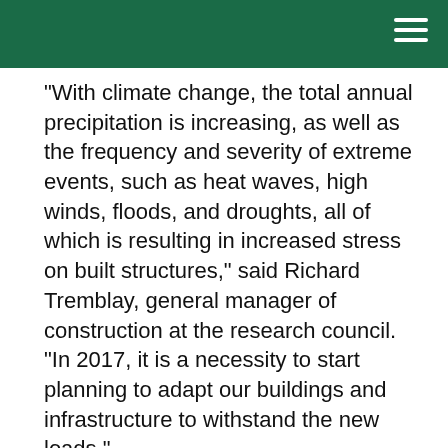"With climate change, the total annual precipitation is increasing, as well as the frequency and severity of extreme events, such as heat waves, high winds, floods, and droughts, all of which is resulting in increased stress on built structures," said Richard Tremblay, general manager of construction at the research council. "In 2017, it is a necessity to start planning to adapt our buildings and infrastructure to withstand the new loads."
The government's investment is coming from the Investing in Canada plan, which provides more than $180 billion in infrastructure funding over 12 years.